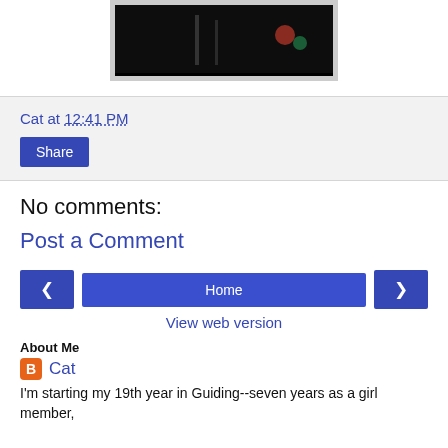[Figure (photo): Dark nighttime photo, partially cropped at top]
Cat at 12:41 PM
Share
No comments:
Post a Comment
< Home >
View web version
About Me
Cat
I'm starting my 19th year in Guiding--seven years as a girl member,